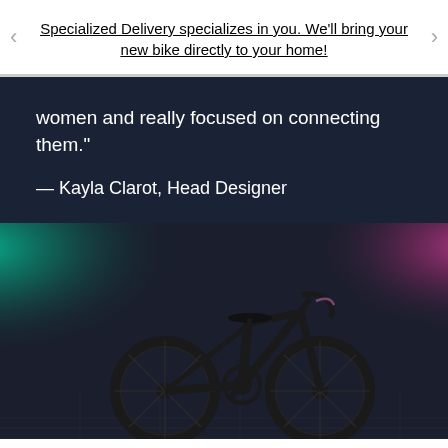Specialized Delivery specializes in you. We'll bring your new bike directly to your home!
women and really focused on connecting them."
— Kayla Clarot, Head Designer
[Figure (photo): A dark road bike photographed against a dramatic dark background with teal/green spotlight from the left and pink/magenta spotlight from the right, creating colorful atmospheric lighting on the bicycle.]